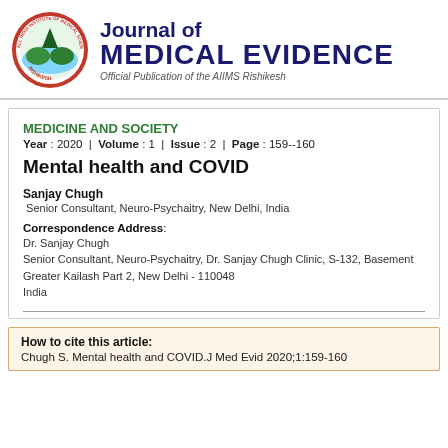[Figure (logo): AIIMS Rishikesh circular logo with red border and text 'All India Institute of Medical Sciences, Rishikesh']
Journal of MEDICAL EVIDENCE
Official Publication of the AIIMS Rishikesh
MEDICINE AND SOCIETY
Year : 2020  |  Volume : 1  |  Issue : 2  |  Page : 159--160
Mental health and COVID
Sanjay Chugh
Senior Consultant, Neuro-Psychaitry, New Delhi, India
Correspondence Address:
Dr. Sanjay Chugh
Senior Consultant, Neuro-Psychaitry, Dr. Sanjay Chugh Clinic, S-132, Basement Greater Kailash Part 2, New Delhi - 110048
India
How to cite this article:
Chugh S. Mental health and COVID.J Med Evid 2020;1:159-160